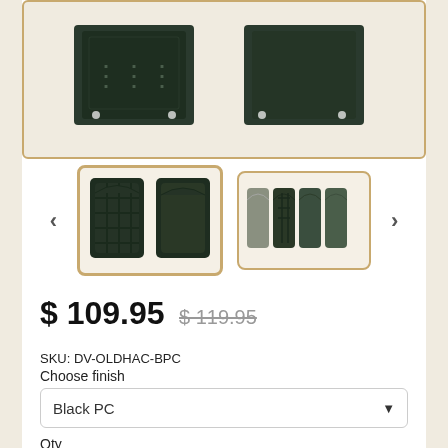[Figure (photo): Main product image showing two dark black cast iron mailbox door components, front face and back face, displayed against white background inside a tan/gold bordered frame.]
[Figure (photo): Thumbnail image 1 (selected/active): Two black ornate mailbox inserts shown, front and back view, with gold border - currently selected thumbnail.]
[Figure (photo): Thumbnail image 2: Multiple mailbox components shown side by side in tan/gold background, horizontal arrangement.]
$ 109.95  $ 119.95
SKU: DV-OLDHAC-BPC
Choose finish
Black PC
Qty